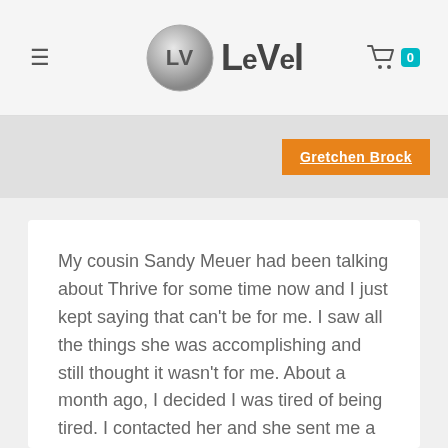Level
Gretchen Brock
My cousin Sandy Meuer had been talking about Thrive for some time now and I just kept saying that can't be for me. I saw all the things she was accomplishing and still thought it wasn't for me. About a month ago, I decided I was tired of being tired. I contacted her and she sent me a sample. After the first day, I thought to myself, "Why had I been so negative on this whole experience?" I love it. I have the energy to get things done around my house. I don't want to take naps all day anymore. I am meal prepping and cooking more at home and